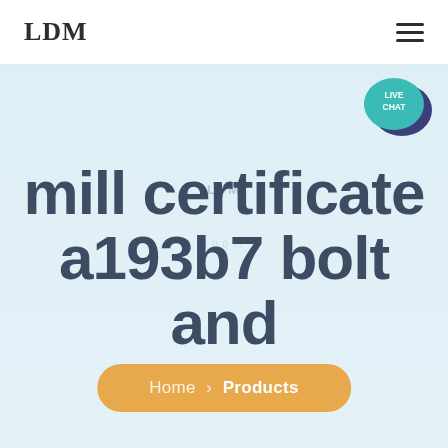LDM
[Figure (illustration): Live chat speech bubble icon with teal/dark blue colors and white text 'LIVE CHAT']
mill certificate a193b7 bolt and nuts
LDM (watermark overlay)
Home > Products